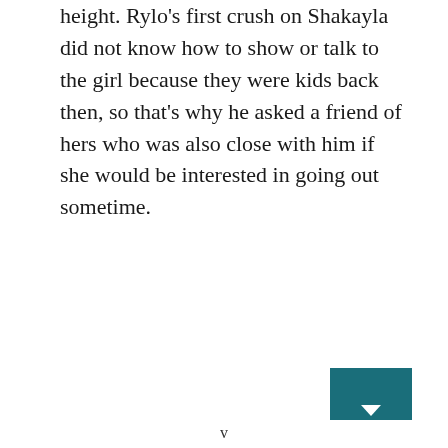height. Rylo's first crush on Shakayla did not know how to show or talk to the girl because they were kids back then, so that's why he asked a friend of hers who was also close with him if she would be interested in going out sometime.